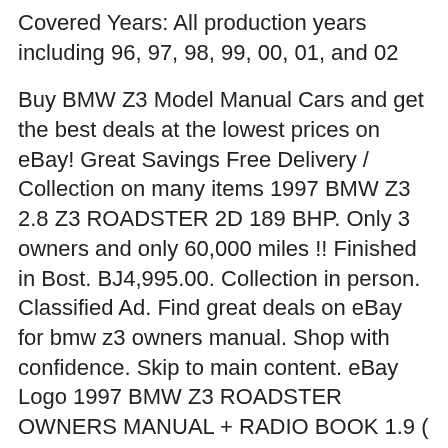Covered Years: All production years including 96, 97, 98, 99, 00, 01, and 02
Buy BMW Z3 Model Manual Cars and get the best deals at the lowest prices on eBay! Great Savings Free Delivery / Collection on many items 1997 BMW Z3 2.8 Z3 ROADSTER 2D 189 BHP. Only 3 owners and only 60,000 miles !! Finished in Bost. BJ4,995.00. Collection in person. Classified Ad. Find great deals on eBay for bmw z3 owners manual. Shop with confidence. Skip to main content. eBay Logo 1997 BMW Z3 ROADSTER OWNERS MANUAL + RADIO BOOK 1.9 ( 2.8 SUPPLEMENT ) (BUY OeM) C $215.59. Was: Previous Price C $1,077.94. or Best Offer +C вЂ¦